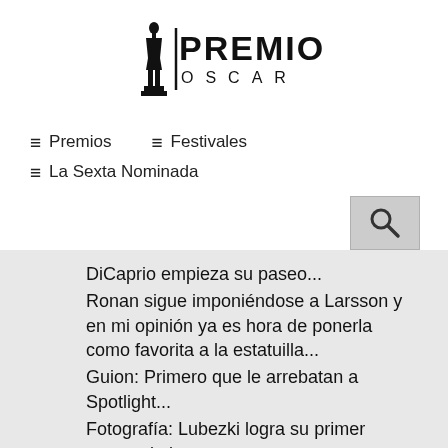[Figure (logo): Premios Oscar logo with Oscar statuette silhouette and text PREMIOS OSCAR]
≡ Premios
≡ Festivales
≡ La Sexta Nominada
[Figure (other): Search button with magnifying glass icon]
DiCaprio empieza su paseo... Ronan sigue imponiéndose a Larsson y en mi opinión ya es hora de ponerla como favorita a la estatuilla... Guion: Primero que le arrebatan a Spotlight... Fotografía: Lubezki logra su primer reconocimiento...